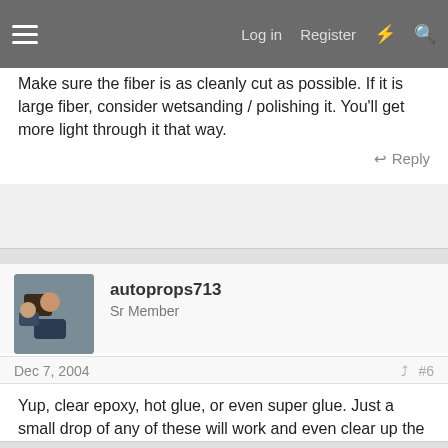Log in  Register
Make sure the fiber is as cleanly cut as possible. If it is large fiber, consider wetsanding / polishing it. You'll get more light through it that way.
Reply
autoprops713
Sr Member
Dec 7, 2004  #6
Yup, clear epoxy, hot glue, or even super glue. Just a small drop of any of these will work and even clear up the cut end.

Dave
Reply